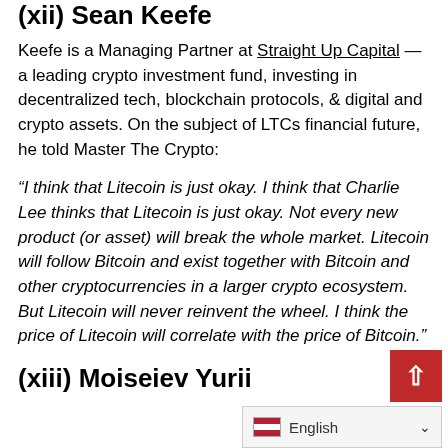(xii) Sean Keefe
Keefe is a Managing Partner at Straight Up Capital — a leading crypto investment fund, investing in decentralized tech, blockchain protocols, & digital and crypto assets. On the subject of LTCs financial future, he told Master The Crypto:
“I think that Litecoin is just okay. I think that Charlie Lee thinks that Litecoin is just okay. Not every new product (or asset) will break the whole market. Litecoin will follow Bitcoin and exist together with Bitcoin and other cryptocurrencies in a larger crypto ecosystem. But Litecoin will never reinvent the wheel. I think the price of Litecoin will correlate with the price of Bitcoin.”
(xiii) Moiseiev Yurii